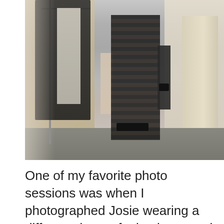[Figure (photo): A person wearing a long striped maxi dress, standing in what appears to be a clothing store or boutique. Clothes hanging on a rack are visible on the left, and a stone or concrete pillar is visible on the right. The photo is slightly washed out/desaturated.]
One of my favorite photo sessions was when I photographed Josie wearing a different dress of mine because it is me from start to